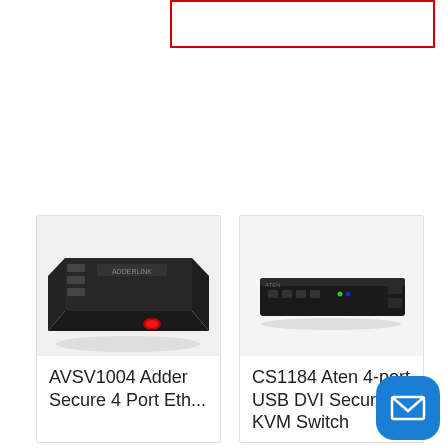[Figure (other): Red-bordered rectangle (search or input box), partially visible at top of page]
[Figure (photo): AVSV1004 Adder Secure 4-port KVM switch device, black metal box with red indicator light and multiple ports, perspective view on white background]
AVSV1004 Adder Secure 4 Port Eth...
[Figure (photo): CS1184 Aten 4-port USB DVI Secure KVM Switch, black flat horizontal unit with buttons on top]
CS1184 Aten 4-port USB DVI Secure KVM Switch
[Figure (other): Blue rounded square chat/email button with envelope icon, bottom right corner]